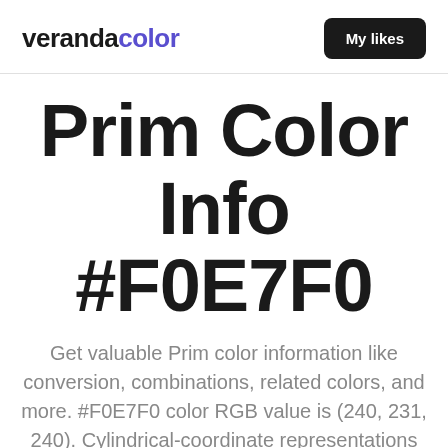verandacolor   My likes
Prim Color Info #F0E7F0
Get valuable Prim color information like conversion, combinations, related colors, and more. #F0E7F0 color RGB value is (240, 231, 240). Cylindrical-coordinate representations (also